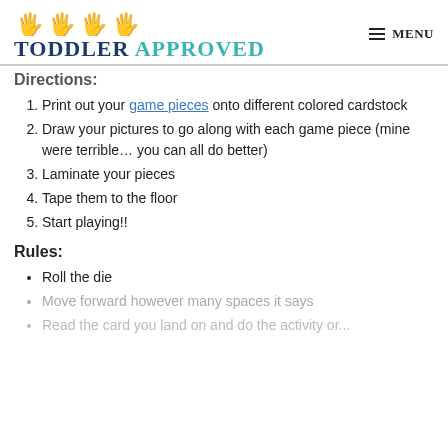TODDLER APPROVED — MENU
Directions:
Print out your game pieces onto different colored cardstock
Draw your pictures to go along with each game piece (mine were terrible… you can all do better)
Laminate your pieces
Tape them to the floor
Start playing!!
Rules:
Roll the die
Move forward however many spaces it says
Read the card you land on and do the activity or...